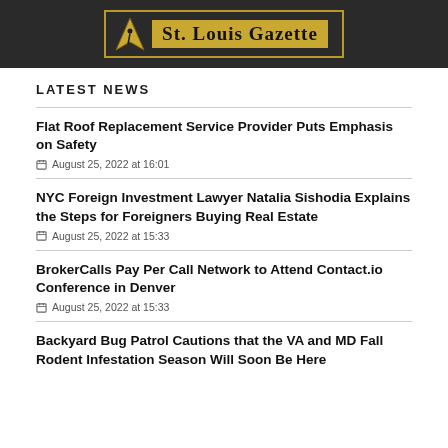St. Louis Gazette
LATEST NEWS
Flat Roof Replacement Service Provider Puts Emphasis on Safety
August 25, 2022 at 16:01
NYC Foreign Investment Lawyer Natalia Sishodia Explains the Steps for Foreigners Buying Real Estate
August 25, 2022 at 15:33
BrokerCalls Pay Per Call Network to Attend Contact.io Conference in Denver
August 25, 2022 at 15:33
Backyard Bug Patrol Cautions that the VA and MD Fall Rodent Infestation Season Will Soon Be Here